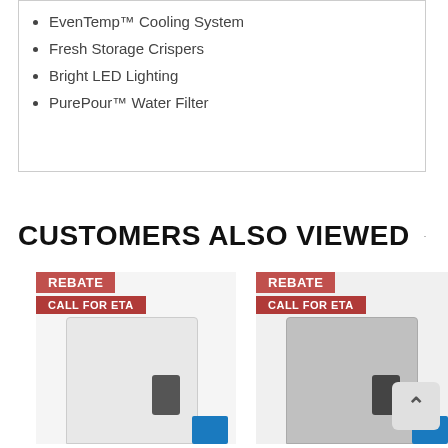EvenTemp™ Cooling System
Fresh Storage Crispers
Bright LED Lighting
PurePour™ Water Filter
CUSTOMERS ALSO VIEWED
[Figure (photo): Refrigerator product card with white side-by-side refrigerator, REBATE and CALL FOR ETA labels, Energy Star badge]
[Figure (photo): Refrigerator product card with stainless steel side-by-side refrigerator, REBATE and CALL FOR ETA labels, Energy Star badge]